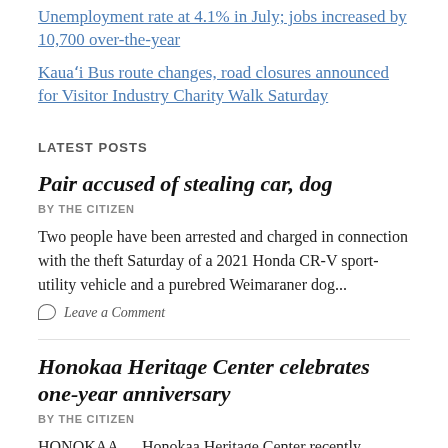Unemployment rate at 4.1% in July; jobs increased by 10,700 over-the-year
Kauaʻi Bus route changes, road closures announced for Visitor Industry Charity Walk Saturday
LATEST POSTS
Pair accused of stealing car, dog
BY THE CITIZEN
Two people have been arrested and charged in connection with the theft Saturday of a 2021 Honda CR-V sport-utility vehicle and a purebred Weimaraner dog...
Leave a Comment
Honokaa Heritage Center celebrates one-year anniversary
BY THE CITIZEN
HONOKAA — Honokaa Heritage Center recently